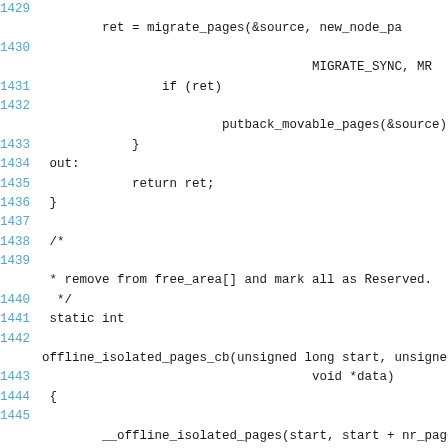Source code snippet lines 1429-1447 showing C kernel memory migration and offline isolated pages functions